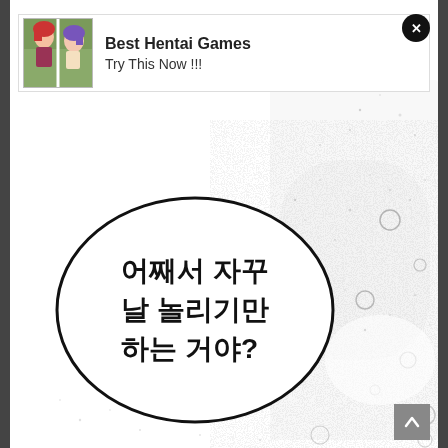[Figure (illustration): Advertisement banner with anime-style illustration of two female characters and text 'Best Hentai Games / Try This Now !!!']
Best Hentai Games
Try This Now !!!
[Figure (illustration): Manga speech bubble with Korean text: 어째서 자꾸 날 놀리기만 하는 거야? (Why do you keep teasing me?) on a speckled/textured white background with small circles/bubbles]
어째서 자꾸 날 놀리기만 하는 거야?